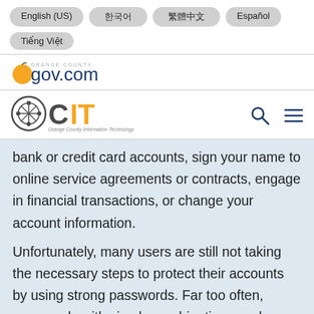English (US)  한국어  繁體中文  Español  Tiếng Việt
[Figure (logo): OCgov.com logo with orange circle icon]
[Figure (logo): OCIT Orange County Information Technology logo with search and menu icons]
bank or credit card accounts, sign your name to online service agreements or contracts, engage in financial transactions, or change your account information.
Unfortunately, many users are still not taking the necessary steps to protect their accounts by using strong passwords. Far too often, passwords with simple combinations such as 123456, password, keyboard patterns, or dictionary words are being used. In other